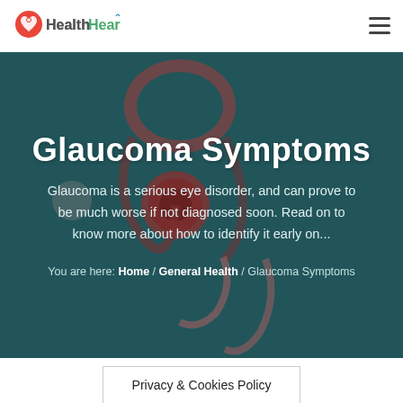HealthHearty
Glaucoma Symptoms
Glaucoma is a serious eye disorder, and can prove to be much worse if not diagnosed soon. Read on to know more about how to identify it early on...
You are here: Home / General Health / Glaucoma Symptoms
Privacy & Cookies Policy